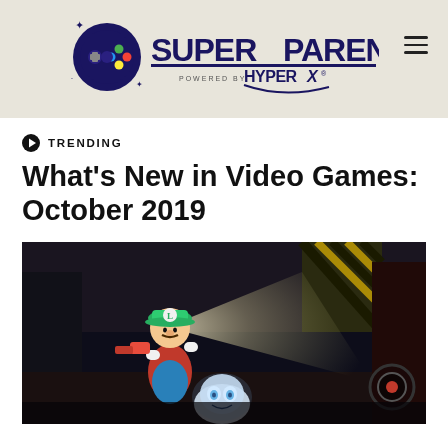SuperParent - Powered by HyperX
TRENDING
What's New in Video Games: October 2019
[Figure (photo): Screenshot from Luigi's Mansion 3 showing Luigi using a flashlight against a ghost enemy in a dark industrial setting]